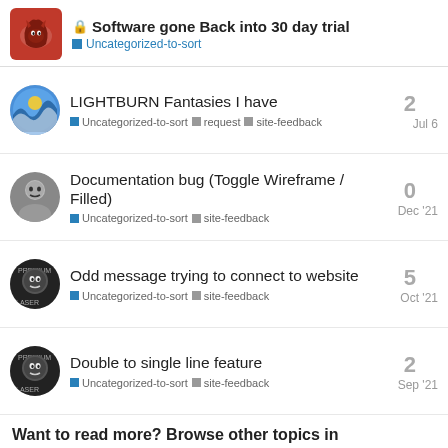Software gone Back into 30 day trial — Uncategorized-to-sort
LIGHTBURN Fantasies I have — Uncategorized-to-sort, request, site-feedback — 2 replies — Jul 6
Documentation bug (Toggle Wireframe / Filled) — Uncategorized-to-sort, site-feedback — 0 replies — Dec '21
Odd message trying to connect to website — Uncategorized-to-sort, site-feedback — 5 replies — Oct '21
Double to single line feature — Uncategorized-to-sort, site-feedback — 2 replies — Sep '21
Want to read more? Browse other topics in Uncategorized-to-... or view latest topics.